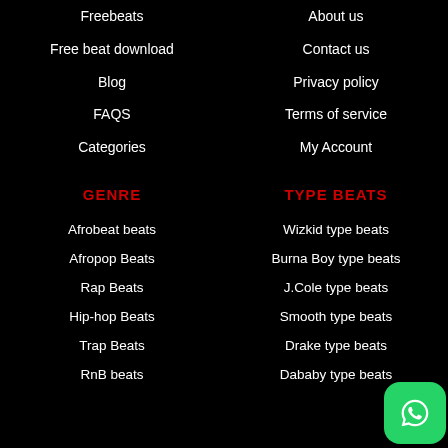Freebeats
About us
Free beat download
Contact us
Blog
Privacy policy
FAQS
Terms of service
Categories
My Account
GENRE
TYPE BEATS
Afrobeat beats
Wizkid type beats
Afropop Beats
Burna Boy type beats
Rap Beats
J.Cole type beats
Hip-hop Beats
Smooth type beats
Trap Beats
Drake type beats
RnB beats
Dababy type beats